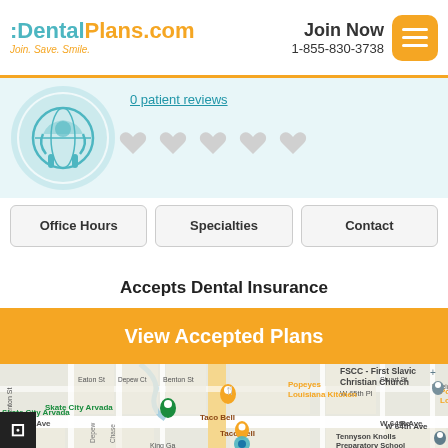DentalPlans.com — Join. Save. Smile. | Join Now 1-855-830-3738
0 patient reviews
[Figure (illustration): Dental/health icon — circular teal badge with dental tools silhouette]
Office Hours   Specialties   Contact
Accepts Dental Insurance
View Accepted Plans
[Figure (map): Google Maps view of Arvada, CO area showing Skate City Arvada, Popeyes Louisiana Kitchen, Taco Bell, FSCC - First Slavic Christian Church, W 64th Ave, W 65th Pl, Tennyson Knolls Preparatory School]